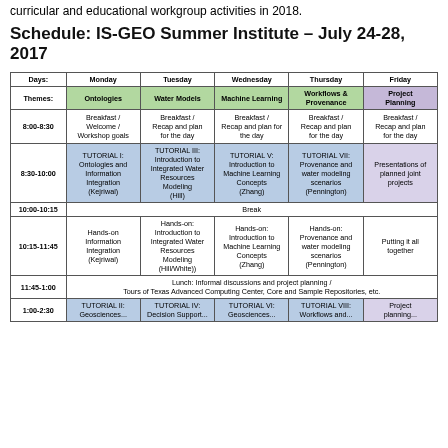curricular and educational workgroup activities in 2018.
Schedule: IS-GEO Summer Institute – July 24-28, 2017
| Days: | Monday | Tuesday | Wednesday | Thursday | Friday |
| --- | --- | --- | --- | --- | --- |
| Themes: | Ontologies | Water Models | Machine Learning | Workflows & Provenance | Project Planning |
| 8:00-8:30 | Breakfast / Welcome / Workshop goals | Breakfast / Recap and plan for the day | Breakfast / Recap and plan for the day | Breakfast / Recap and plan for the day | Breakfast / Recap and plan for the day |
| 8:30-10:00 | TUTORIAL I: Ontologies and Information Integration (Kejriwal) | TUTORIAL III: Introduction to Integrated Water Resources Modeling (Hill) | TUTORIAL V: Introduction to Machine Learning Concepts (Zhang) | TUTORIAL VII: Provenance and water modeling scenarios (Pennington) | Presentations of planned joint projects |
| 10:00-10:15 | Break |  |  |  |  |
| 10:15-11:45 | Hands-on Information Integration (Kejriwal) | Hands-on: Introduction to Integrated Water Resources Modeling (Hill/White)) | Hands-on: Introduction to Machine Learning Concepts (Zhang) | Hands-on: Provenance and water modeling scenarios (Pennington) | Putting it all together |
| 11:45-1:00 | Lunch: Informal discussions and project planning / Tours of Texas Advanced Computing Center, Core and Sample Repositories, etc. |  |  |  |  |
| 1:00-2:30 | TUTORIAL II: Geosciences... | TUTORIAL IV: Decision Support... | TUTORIAL VI: Geosciences... | TUTORIAL VIII: Workflows and... | Project planning |